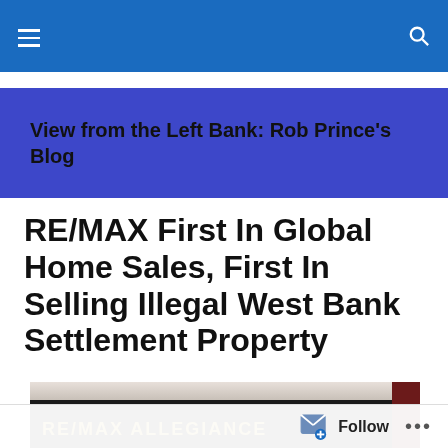Navigation bar with hamburger menu and search icon
View from the Left Bank: Rob Prince's Blog
RE/MAX First In Global Home Sales, First In Selling Illegal West Bank Settlement Property
[Figure (photo): RE/MAX Allegiance sign on a building facade]
Follow